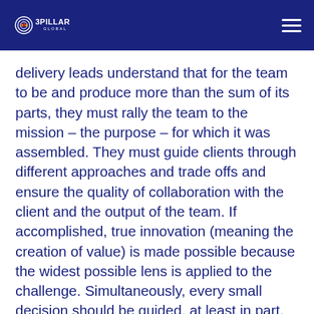3PILLAR GLOBAL
delivery leads understand that for the team to be and produce more than the sum of its parts, they must rally the team to the mission – the purpose – for which it was assembled. They must guide clients through different approaches and trade offs and ensure the quality of collaboration with the client and the output of the team. If accomplished, true innovation (meaning the creation of value) is made possible because the widest possible lens is applied to the challenge. Simultaneously, every small decision should be guided, at least in part, by that purpose. The product and its features are only the HOW. But the list of features in the backlog are only a hypothesis (with more or less research to back them up) as to what will accomplish the mission. Delivery leads connect the team to the mission and guide them to make it their own.